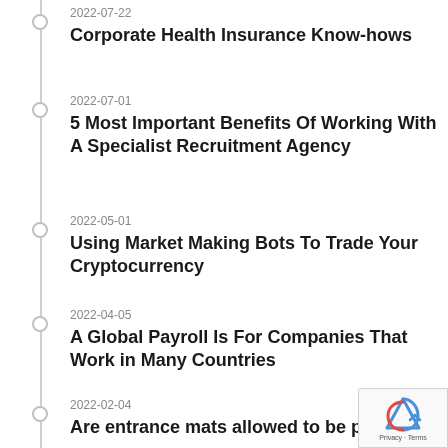2022-07-22
Corporate Health Insurance Know-hows
2022-07-01
5 Most Important Benefits Of Working With A Specialist Recruitment Agency
2022-05-01
Using Market Making Bots To Trade Your Cryptocurrency
2022-04-05
A Global Payroll Is For Companies That Work in Many Countries
2022-02-04
Are entrance mats allowed to be placed on